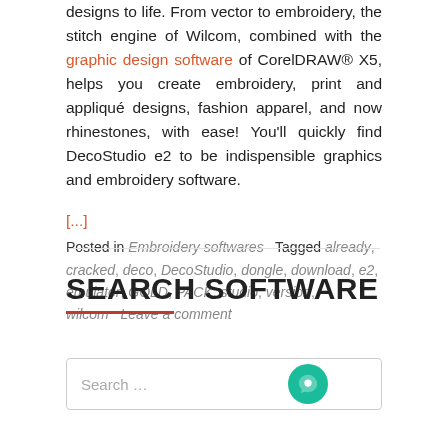designs to life. From vector to embroidery, the stitch engine of Wilcom, combined with the graphic design software of CorelDRAW® X5, helps you create embroidery, print and appliqué designs, fashion apparel, and now rhinestones, with ease! You'll quickly find DecoStudio e2 to be indispensible graphics and embroidery software.
[...]
Posted in Embroidery softwares   Tagged already, cracked, deco, DecoStudio, dongle, download, e2, emulator, GOLD, PACK, studio, version, wilcom   Leave a comment
SEARCH SOFTWARE
Search ...